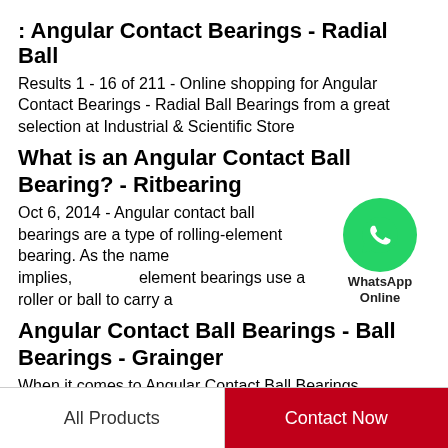: Angular Contact Bearings - Radial Ball
Results 1 - 16 of 211 - Online shopping for Angular Contact Bearings - Radial Ball Bearings from a great selection at Industrial & Scientific Store
What is an Angular Contact Ball Bearing? - Ritbearing
Oct 6, 2014 - Angular contact ball bearings are a type of rolling-element bearing. As the name implies, rolling-element bearings use a roller or ball to carry a
[Figure (logo): WhatsApp green circle logo with phone icon and text 'WhatsApp Online']
Angular Contact Ball Bearings - Ball Bearings - Grainger
When it comes to Angular Contact Ball Bearings, Grainger's got your back. Easy online ordering and next-day delivery available with 24/7 expert product
Angular contact ball bearings
Angular contact ball bearings. Angular contact ball
All Products | Contact Now